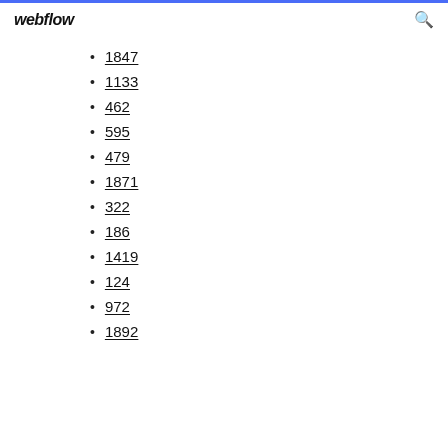webflow
1847
1133
462
595
479
1871
322
186
1419
124
972
1892